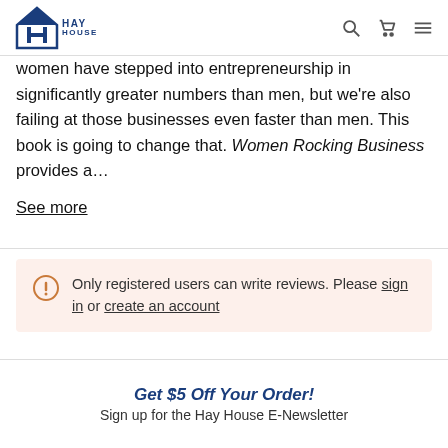Hay House
women have stepped into entrepreneurship in significantly greater numbers than men, but we’re also failing at those businesses even faster than men. This book is going to change that. Women Rocking Business provides a…
See more
Only registered users can write reviews. Please sign in or create an account
Get $5 Off Your Order! Sign up for the Hay House E-Newsletter